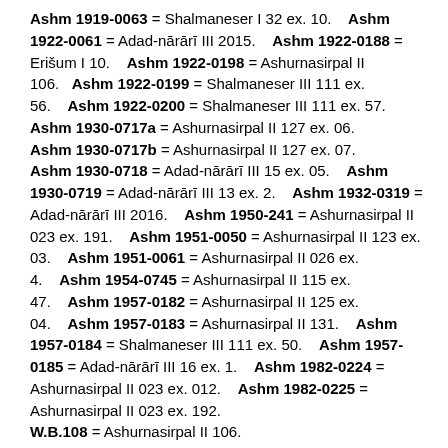Ashm 1919-0063 = Shalmaneser I 32 ex. 10.    Ashm 1922-0061 = Adad-nārārī III 2015.    Ashm 1922-0188 = Erišum I 10.    Ashm 1922-0198 = Ashurnasirpal II 106.    Ashm 1922-0199 = Shalmaneser III 111 ex. 56.    Ashm 1922-0200 = Shalmaneser III 111 ex. 57.    Ashm 1930-0717a = Ashurnasirpal II 127 ex. 06.    Ashm 1930-0717b = Ashurnasirpal II 127 ex. 07.    Ashm 1930-0718 = Adad-nārārī III 15 ex. 05.    Ashm 1930-0719 = Adad-nārārī III 13 ex. 2.    Ashm 1932-0319 = Adad-nārārī III 2016.    Ashm 1950-241 = Ashurnasirpal II 023 ex. 191.    Ashm 1951-0050 = Ashurnasirpal II 123 ex. 03.    Ashm 1951-0061 = Ashurnasirpal II 026 ex. 4.    Ashm 1954-0745 = Ashurnasirpal II 115 ex. 47.    Ashm 1957-0182 = Ashurnasirpal II 125 ex. 04.    Ashm 1957-0183 = Ashurnasirpal II 131.    Ashm 1957-0184 = Shalmaneser III 111 ex. 50.    Ashm 1957-0185 = Adad-nārārī III 16 ex. 1.    Ashm 1982-0224 = Ashurnasirpal II 023 ex. 012.    Ashm 1982-0225 = Ashurnasirpal II 023 ex. 192.    W.B.108 = Ashurnasirpal II 106.